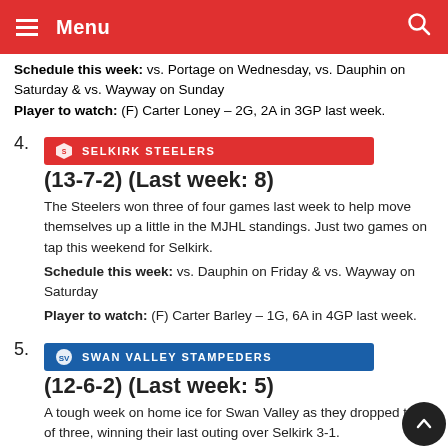Menu
Schedule this week: vs. Portage on Wednesday, vs. Dauphin on Saturday & vs. Wayway on Sunday
Player to watch: (F) Carter Loney – 2G, 2A in 3GP last week.
4. SELKIRK STEELERS
(13-7-2) (Last week: 8)
The Steelers won three of four games last week to help move themselves up a little in the MJHL standings. Just two games on tap this weekend for Selkirk.
Schedule this week: vs. Dauphin on Friday & vs. Wayway on Saturday
Player to watch: (F) Carter Barley – 1G, 6A in 4GP last week.
5. SWAN VALLEY STAMPEDERS
(12-6-2) (Last week: 5)
A tough week on home ice for Swan Valley as they dropped two of three, winning their last outing over Selkirk 3-1.